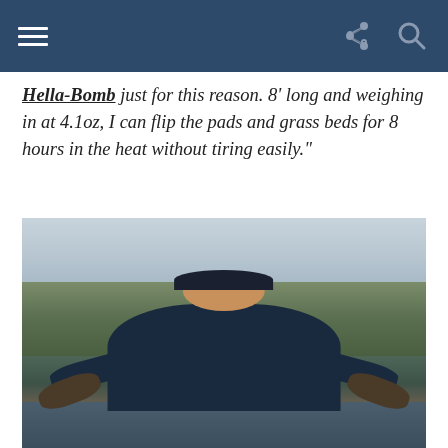Navigation bar with hamburger menu, share icon, and search icon
Hella-Bomb just for this reason. 8' long and weighing in at 4.1oz, I can flip the pads and grass beds for 8 hours in the heat without tiring easily.
[Figure (photo): Man standing outdoors near a lake or river on an overcast day, wearing a dark blue jacket and a black cap with blue sunglasses on the brim, holding two large bass fish — one in each outstretched hand. Trees are visible in the background.]